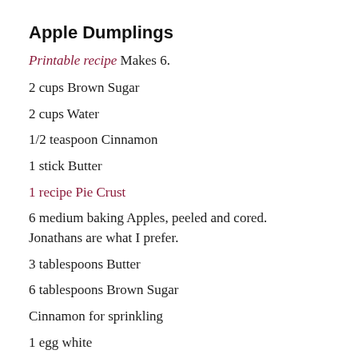Apple Dumplings
Printable recipe Makes 6.
2 cups Brown Sugar
2 cups Water
1/2 teaspoon Cinnamon
1 stick Butter
1 recipe Pie Crust
6 medium baking Apples, peeled and cored. Jonathans are what I prefer.
3 tablespoons Butter
6 tablespoons Brown Sugar
Cinnamon for sprinkling
1 egg white
These also freeze well. You can freeze them